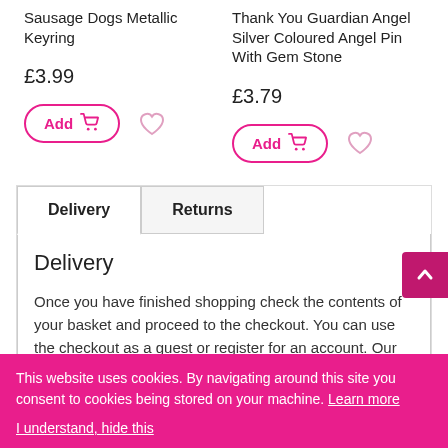Sausage Dogs Metallic Keyring
Thank You Guardian Angel Silver Coloured Angel Pin With Gem Stone
£3.99
£3.79
Delivery
Returns
Delivery
Once you have finished shopping check the contents of your basket and proceed to the checkout. You can use the checkout as a guest or register for an account. Our postcode validation software will help populate your address fields for you. If you use Google autofill or similar, please check carefu
This website uses cookies. By navigating around this site you consent to cookies being stored on your machine. Learn more

I understand, hide this